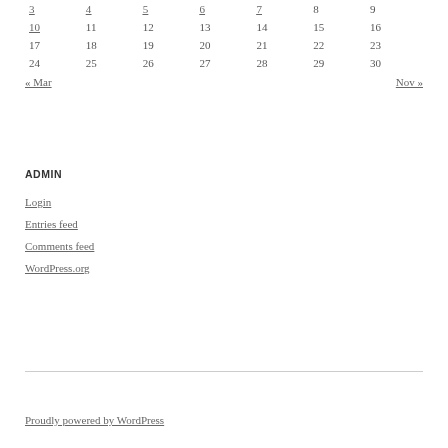| 3 | 4 | 5 | 6 | 7 | 8 | 9 |
| 10 | 11 | 12 | 13 | 14 | 15 | 16 |
| 17 | 18 | 19 | 20 | 21 | 22 | 23 |
| 24 | 25 | 26 | 27 | 28 | 29 | 30 |
« Mar    Nov »
ADMIN
Login
Entries feed
Comments feed
WordPress.org
Proudly powered by WordPress